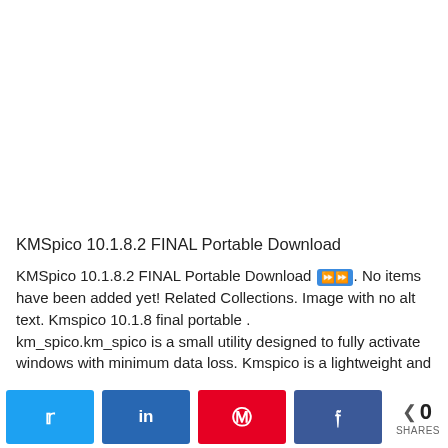[Figure (other): Advertisement / blank white space placeholder]
KMSpico 10.1.8.2 FINAL Portable Download
KMSpico 10.1.8.2 FINAL Portable Download ⏩⏩. No items have been added yet! Related Collections. Image with no alt text. Kmspico 10.1.8 final portable . km_spico.km_spico is a small utility designed to fully activate windows with minimum data loss. Kmspico is a lightweight and
[Figure (infographic): Social share bar with Twitter, LinkedIn, Pinterest, Facebook buttons and share count showing 0 SHARES]